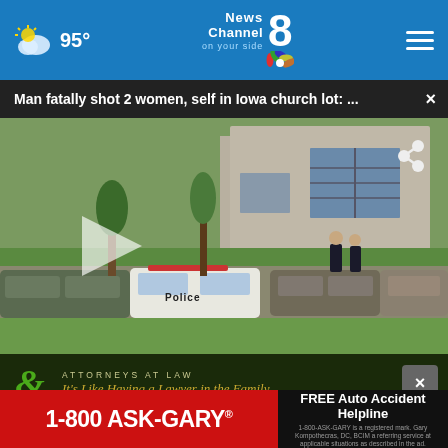95° | News Channel 8 on your side
Man fatally shot 2 women, self in Iowa church lot: ...
[Figure (screenshot): News video still showing police cars including a marked Police vehicle in a parking lot outside a building, with officers standing nearby. A play button overlay is visible on the left side. A share icon is in the upper right.]
[Figure (other): Advertisement overlay: Attorneys at Law - It's Like Having a Lawyer in the Family with close button]
[Figure (other): Advertisement: 1-800 ASK-GARY with red background on left, FREE Auto Accident Helpline on dark right side]